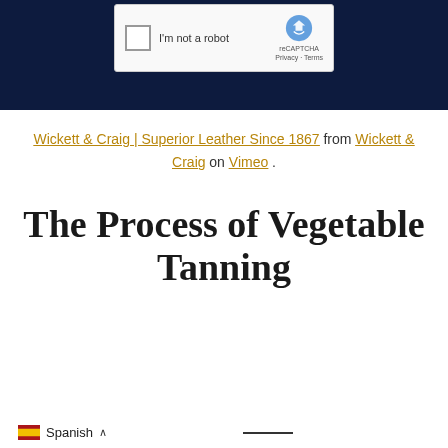[Figure (screenshot): Dark navy blue section with a reCAPTCHA widget showing checkbox 'I'm not a robot' with reCAPTCHA logo, Privacy and Terms links]
Wickett & Craig | Superior Leather Since 1867 from Wickett & Craig on Vimeo.
The Process of Vegetable Tanning
Spanish ∧